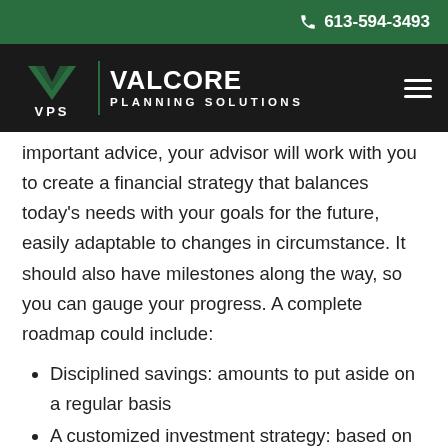613-594-3493
[Figure (logo): VPS Valcore Planning Solutions logo — green V-shape mark, white text on dark background]
important advice, your advisor will work with you to create a financial strategy that balances today's needs with your goals for the future, easily adaptable to changes in circumstance. It should also have milestones along the way, so you can gauge your progress. A complete roadmap could include:
Disciplined savings: amounts to put aside on a regular basis
A customized investment strategy: based on your risk profile and time